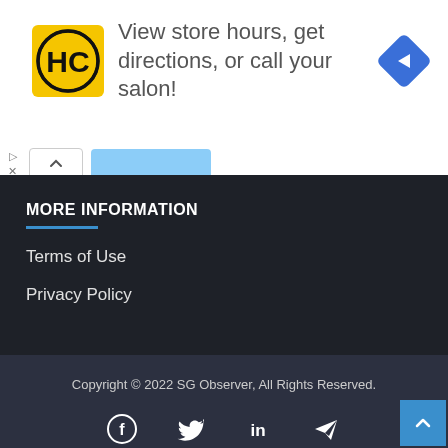[Figure (screenshot): Advertisement banner with HC (Hair Club) logo, text 'View store hours, get directions, or call your salon!', and a blue diamond navigation icon. Below it are ad close controls with a caret-up button and a blurred blue button.]
MORE INFORMATION
Terms of Use
Privacy Policy
Copyright © 2022 SG Observer, All Rights Reserved.